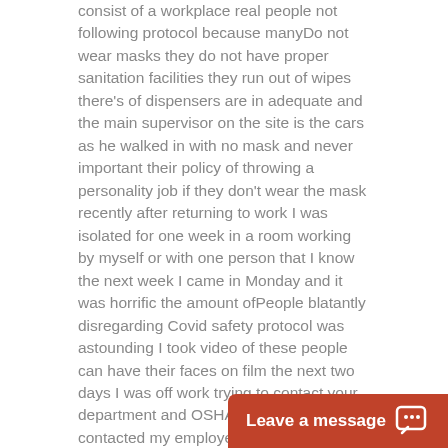consist of a workplace real people not following protocol because manyDo not wear masks they do not have proper sanitation facilities they run out of wipes there's of dispensers are in adequate and the main supervisor on the site is the cars as he walked in with no mask and never important their policy of throwing a personality job if they don't wear the mask recently after returning to work I was isolated for one week in a room working by myself or with one person that I know the next week I came in Monday and it was horrific the amount ofPeople blatantly disregarding Covid safety protocol was astounding I took video of these people can have their faces on film the next two days I was off work trying to contact your department and OSHA again when I contacted my employer about the situation they told me that they did not want me on the job site anymore and I was not to go there not ever going to send me out to Palm Desert to work they know I'm carpooling to my job with my son-in-law because my car broke Several weeks ago on the way to work I have been driving my wife's jeep which I used to go to the office but the differential blew up on it and I had to have it towed home and they were fully aware of this and they told me that I can d though they were supp